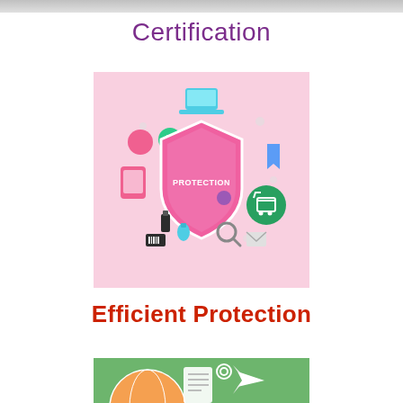Certification
[Figure (illustration): Pink protection shield icon surrounded by colorful digital security icons (laptop, mobile, shopping cart, search, etc.) on a pink background, labeled PROTECTION]
Efficient Protection
[Figure (illustration): Partial view of a green banner with travel/globe and airplane icons]